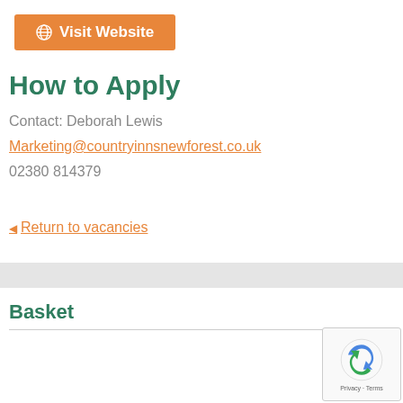[Figure (other): Orange 'Visit Website' button with globe icon]
How to Apply
Contact: Deborah Lewis
Marketing@countryinnsnewforest.co.uk
02380 814379
Return to vacancies
Basket
[Figure (other): reCAPTCHA logo with Privacy and Terms text]